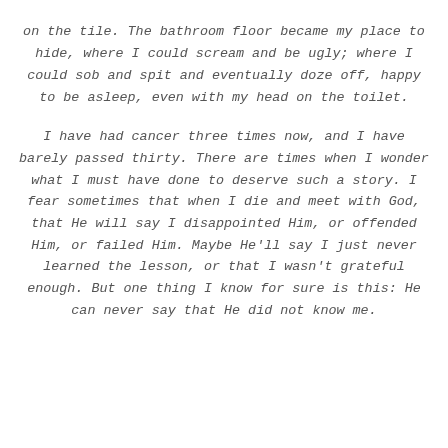on the tile. The bathroom floor became my place to hide, where I could scream and be ugly; where I could sob and spit and eventually doze off, happy to be asleep, even with my head on the toilet.
I have had cancer three times now, and I have barely passed thirty. There are times when I wonder what I must have done to deserve such a story. I fear sometimes that when I die and meet with God, that He will say I disappointed Him, or offended Him, or failed Him. Maybe He'll say I just never learned the lesson, or that I wasn't grateful enough. But one thing I know for sure is this: He can never say that He did not know me.